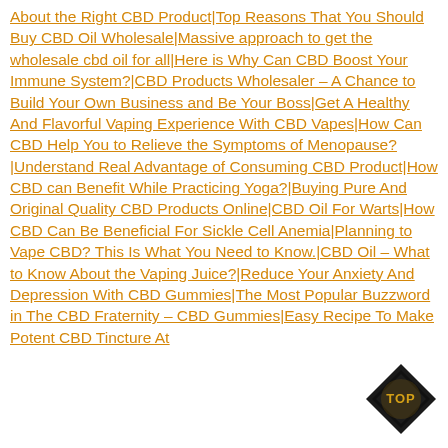About the Right CBD Product|Top Reasons That You Should Buy CBD Oil Wholesale|Massive approach to get the wholesale cbd oil for all|Here is Why Can CBD Boost Your Immune System?|CBD Products Wholesaler – A Chance to Build Your Own Business and Be Your Boss|Get A Healthy And Flavorful Vaping Experience With CBD Vapes|How Can CBD Help You to Relieve the Symptoms of Menopause?|Understand Real Advantage of Consuming CBD Product|How CBD can Benefit While Practicing Yoga?|Buying Pure And Original Quality CBD Products Online|CBD Oil For Warts|How CBD Can Be Beneficial For Sickle Cell Anemia|Planning to Vape CBD? This Is What You Need to Know.|CBD Oil – What to Know About the Vaping Juice?|Reduce Your Anxiety And Depression With CBD Gummies|The Most Popular Buzzword in The CBD Fraternity – CBD Gummies|Easy Recipe To Make Potent CBD Tincture At
[Figure (other): Black diamond-shaped badge with 'TOP' text in white/gold center]